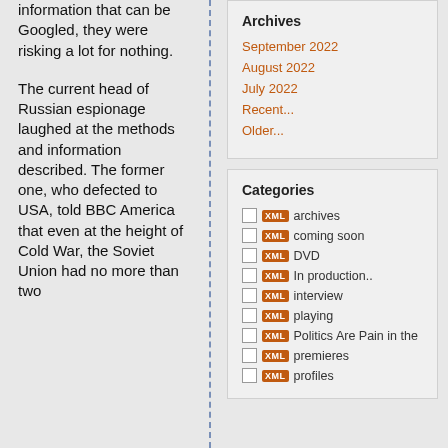information that can be Googled, they were risking a lot for nothing.
The current head of Russian espionage laughed at the methods and information described. The former one, who defected to USA, told BBC America that even at the height of Cold War, the Soviet Union had no more than two
Archives
September 2022
August 2022
July 2022
Recent...
Older...
Categories
archives
coming soon
DVD
In production..
interview
playing
Politics Are Pain in the
premieres
profiles